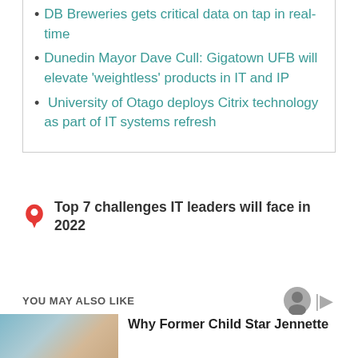DB Breweries gets critical data on tap in real-time
Dunedin Mayor Dave Cull: Gigatown UFB will elevate 'weightless' products in IT and IP
University of Otago deploys Citrix technology as part of IT systems refresh
Top 7 challenges IT leaders will face in 2022
YOU MAY ALSO LIKE
Why Former Child Star Jennette